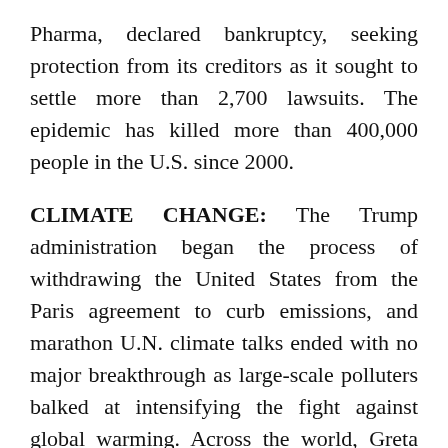Pharma, declared bankruptcy, seeking protection from its creditors as it sought to settle more than 2,700 lawsuits. The epidemic has killed more than 400,000 people in the U.S. since 2000.
CLIMATE CHANGE: The Trump administration began the process of withdrawing the United States from the Paris agreement to curb emissions, and marathon U.N. climate talks ended with no major breakthrough as large-scale polluters balked at intensifying the fight against global warming. Across the world, Greta Thunberg and other young activists called for tougher action as weather data indicated 2019 would likely be the second hottest year on record.